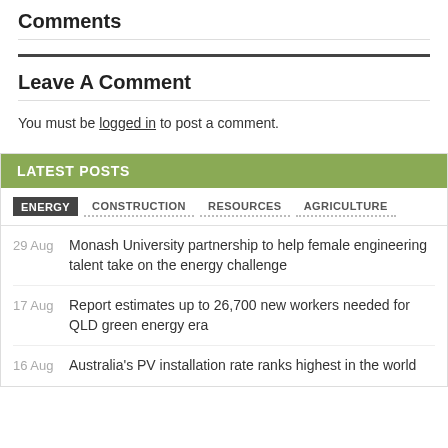Comments
Leave A Comment
You must be logged in to post a comment.
LATEST POSTS
29 Aug — Monash University partnership to help female engineering talent take on the energy challenge
17 Aug — Report estimates up to 26,700 new workers needed for QLD green energy era
16 Aug — Australia's PV installation rate ranks highest in the world